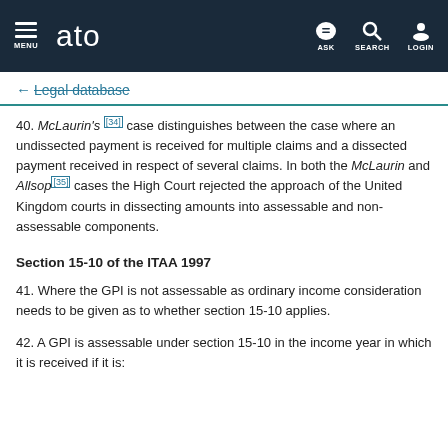MENU | ato | ASK | SEARCH | LOGIN
← Legal database
40. McLaurin's [34] case distinguishes between the case where an undissected payment is received for multiple claims and a dissected payment received in respect of several claims. In both the McLaurin and Allsop [35] cases the High Court rejected the approach of the United Kingdom courts in dissecting amounts into assessable and non-assessable components.
Section 15-10 of the ITAA 1997
41. Where the GPI is not assessable as ordinary income consideration needs to be given as to whether section 15-10 applies.
42. A GPI is assessable under section 15-10 in the income year in which it is received if it is: